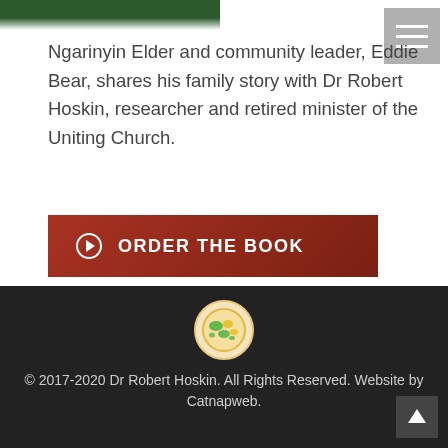[Figure (illustration): Partial view of a book cover (green/dark) cropped at top]
[Figure (illustration): Hamburger menu button (grey square with three white lines) in top right corner]
Ngarinyin Elder and community leader, Eddie Bear, shares his family story with Dr Robert Hoskin, researcher and retired minister of the Uniting Church.
[Figure (illustration): Red/brown button with right-arrow circle icon and text ORDER THE BOOK]
[Figure (logo): Circular logo with yellow/green world map on orange background in footer]
© 2017-2020 Dr Robert Hoskin. All Rights Reserved. Website by Catnapweb.